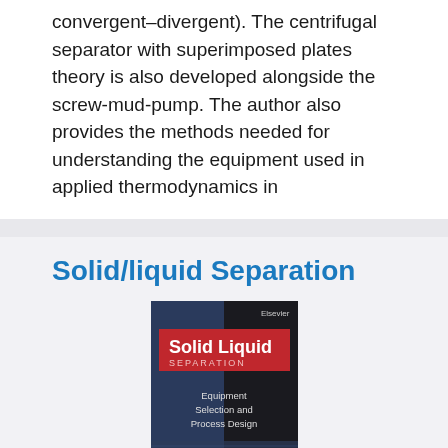convergent–divergent). The centrifugal separator with superimposed plates theory is also developed alongside the screw-mud-pump. The author also provides the methods needed for understanding the equipment used in applied thermodynamics in
Solid/liquid Separation
[Figure (photo): Book cover of 'Solid Liquid Separation: Equipment Selection and Process Design' with dark blue and black background, red banner with title text, and white subtitle text.]